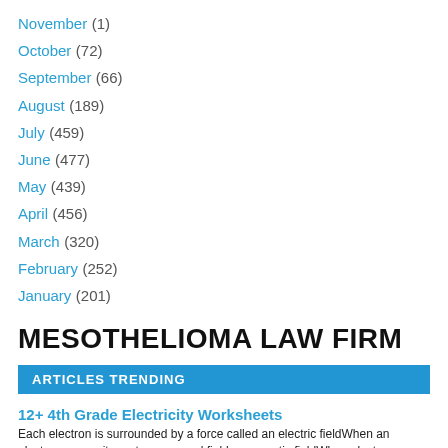November (1)
October (72)
September (66)
August (189)
July (459)
June (477)
May (439)
April (456)
March (320)
February (252)
January (201)
MESOTHELIOMA LAW FIRM
ARTICLES TRENDING
12+ 4th Grade Electricity Worksheets
Each electron is surrounded by a force called an electric fieldWhen an electron moves it creates a second field a magnetic fieldWhen electr...
16+ Preschool Worksheets Rhyming
Kindergarten Rhyming Worksheets and Printables Dr. The Learning Librarys educational practical and engaging worksheets lesson plans interac...